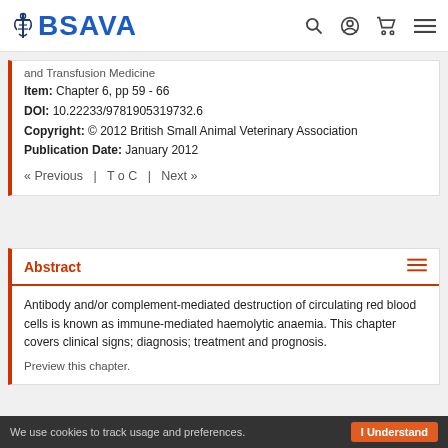BSAVA — navigation bar with logo, search, account, cart, and menu icons
and Transfusion Medicine
Item: Chapter 6, pp 59 - 66
DOI: 10.22233/9781905319732.6
Copyright: © 2012 British Small Animal Veterinary Association
Publication Date: January 2012
« Previous  |  T o C  |  Next »
Abstract
Antibody and/or complement-mediated destruction of circulating red blood cells is known as immune-mediated haemolytic anaemia. This chapter covers clinical signs; diagnosis; treatment and prognosis.
Preview this chapter.
We use cookies to track usage and preferences.  I Understand